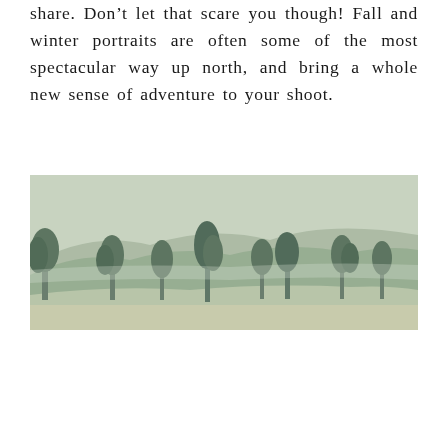share. Don't let that scare you though! Fall and winter portraits are often some of the most spectacular way up north, and bring a whole new sense of adventure to your shoot.
[Figure (photo): A wide landscape photograph showing rolling hills covered with evergreen trees and sparse vegetation, rendered in muted green and tan tones, likely a northern wilderness scene.]